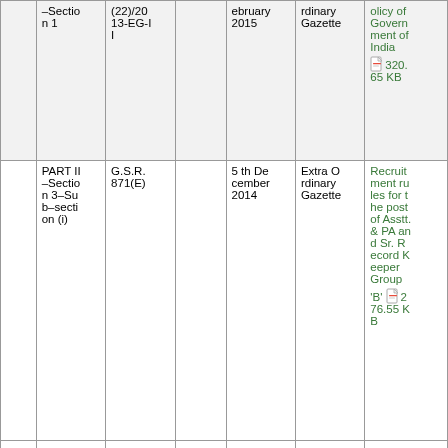|  | –Section 1 | (22)/2013-EG-II |  | ebruary 2015 | rdinary Gazette | olicy of Government of India 320.65 KB |
|  | PART II–Section 3–Sub–section (i) | G.S.R. 871(E) |  | 5 th December 2014 | Extra Ordinary Gazette | Recruitment rules for the post of Asstt. & PA and Sr. Record Keeper Group 'B' 276.55 KB |
|  |  |  |  |  |  |  |